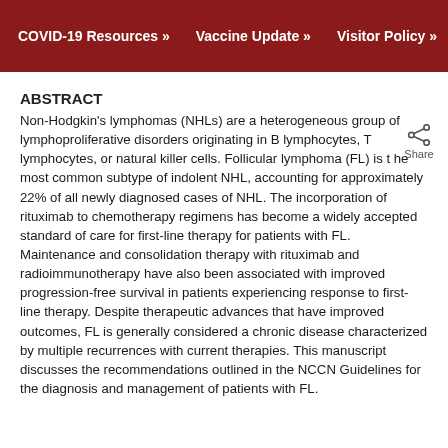COVID-19 Resources »   Vaccine Update »   Visitor Policy »
ABSTRACT
Non-Hodgkin's lymphomas (NHLs) are a heterogeneous group of lymphoproliferative disorders originating in B lymphocytes, T lymphocytes, or natural killer cells. Follicular lymphoma (FL) is the most common subtype of indolent NHL, accounting for approximately 22% of all newly diagnosed cases of NHL. The incorporation of rituximab to chemotherapy regimens has become a widely accepted standard of care for first-line therapy for patients with FL. Maintenance and consolidation therapy with rituximab and radioimmunotherapy have also been associated with improved progression-free survival in patients experiencing response to first-line therapy. Despite therapeutic advances that have improved outcomes, FL is generally considered a chronic disease characterized by multiple recurrences with current therapies. This manuscript discusses the recommendations outlined in the NCCN Guidelines for the diagnosis and management of patients with FL.